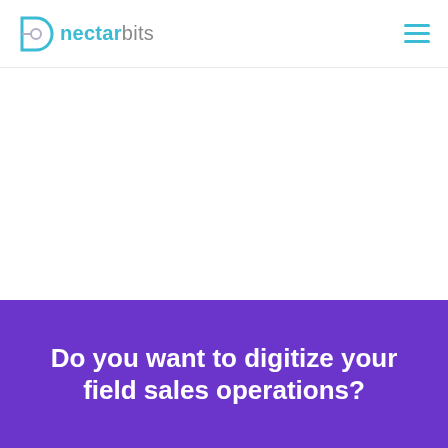nectarbits
Do you want to digitize your field sales operations?